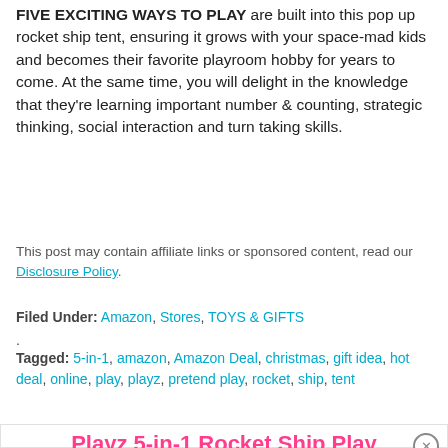FIVE EXCITING WAYS TO PLAY are built into this pop up rocket ship tent, ensuring it grows with your space-mad kids and becomes their favorite playroom hobby for years to come. At the same time, you will delight in the knowledge that they're learning important number & counting, strategic thinking, social interaction and turn taking skills.
This post may contain affiliate links or sponsored content, read our Disclosure Policy.
Filed Under: Amazon, Stores, TOYS & GIFTS
Tagged: 5-in-1, amazon, Amazon Deal, christmas, gift idea, hot deal, online, play, playz, pretend play, rocket, ship, tent
Playz 5-in-1 Rocket Ship Play Tent Only $29.70 (Reg. $60)